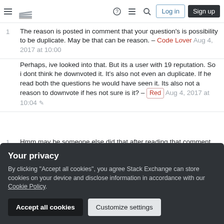Stack Exchange navigation bar with hamburger menu, logo, icons, Log in and Sign up buttons
1 The reason is posted in comment that your question's is possibility to be duplicate. May be that can be reason. – Code Lover Aug 4, 2017 at 10:00
Perhaps, ive looked into that. But its a user with 19 reputation. So i dont think he downvoted it. It's also not even an duplicate. If he read both the questions he would have seen it. Its also not a reason to downvote if hes not sure is it? – Red Aug 4, 2017 at 10:04
1 Hmm may be someone else did that after reading that comment. You have got only one downvote. Someone did that with my questions in serial way. – Code Lover Aug 4, 2017 at 10:07
Your privacy
By clicking "Accept all cookies", you agree Stack Exchange can store cookies on your device and disclose information in accordance with our Cookie Policy.
Accept all cookies | Customize settings